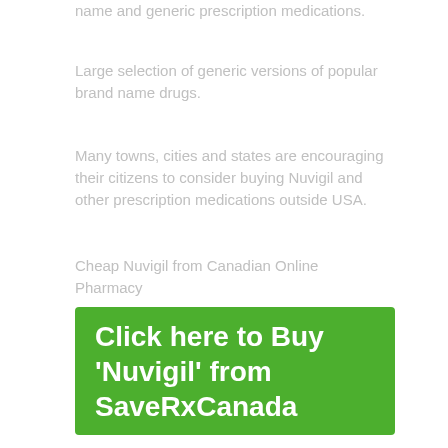name and generic prescription medications.
Large selection of generic versions of popular brand name drugs.
Many towns, cities and states are encouraging their citizens to consider buying Nuvigil and other prescription medications outside USA.
Cheap Nuvigil from Canadian Online Pharmacy
[Figure (other): Green button with white bold text reading: Click here to Buy 'Nuvigil' from SaveRxCanada]